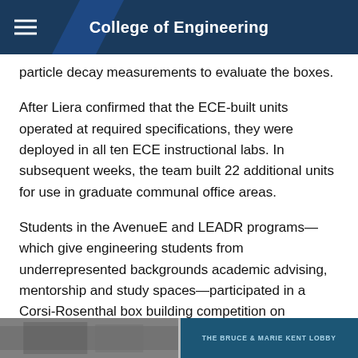College of Engineering
particle decay measurements to evaluate the boxes.
After Liera confirmed that the ECE-built units operated at required specifications, they were deployed in all ten ECE instructional labs. In subsequent weeks, the team built 22 additional units for use in graduate communal office areas.
Students in the AvenueE and LEADR programs— which give engineering students from underrepresented backgrounds academic advising, mentorship and study spaces—participated in a Corsi-Rosenthal box building competition on February 15 in the Kemper Lobby. The ECE department and Texas Instruments generously sponsored supplies.
[Figure (photo): Photo strip at bottom of page showing a building lobby area, partially visible. Right side shows teal/dark blue panel with partial text 'THE BRUCE & MARIE KENT LOBBY'.]